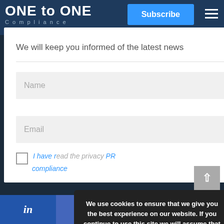ONE to ONE
We will keep you informed of the latest news
Name
Email
I have read the privacy compliance
We use cookies to ensure that we give you the best experience on our website. If you continue to use this site we will assume that you are giving us your consent. Read our cookies policy
I ACCEPT
in  f  Twitter  Email